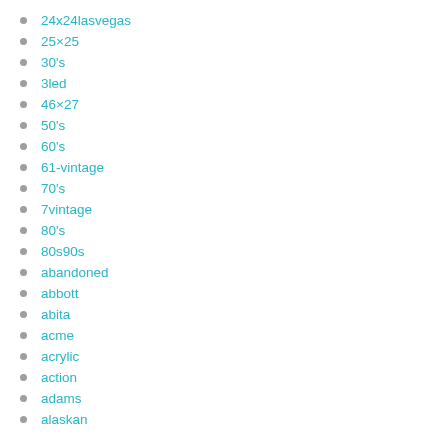24x24lasvegas
25×25
30's
3led
46×27
50's
60's
61-vintage
70's
7vintage
80's
80s90s
abandoned
abbott
abita
acme
acrylic
action
adams
alaskan